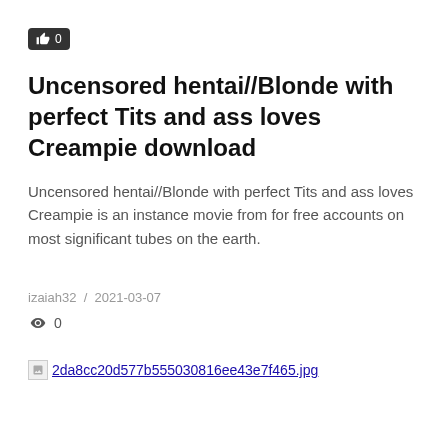[Figure (other): Like/thumbs-up button badge showing count 0]
Uncensored hentai//Blonde with perfect Tits and ass loves Creampie download
Uncensored hentai//Blonde with perfect Tits and ass loves Creampie is an instance movie from for free accounts on most significant tubes on the earth.
izaiah32  /  2021-03-07
👁 0
[Figure (other): Broken image link: 2da8cc20d577b555030816ee43e7f465.jpg]